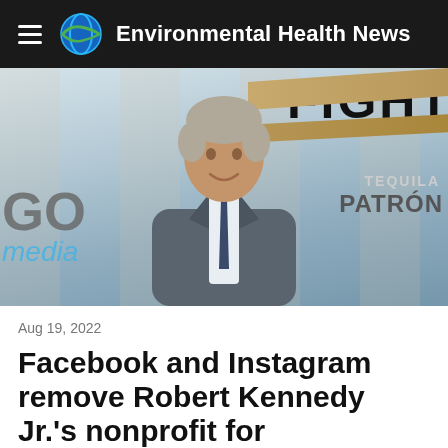Environmental Health News
[Figure (photo): A man in a grey suit with a dark tie smiling at an event, with signage reading 'FIGHT', 'GO media', 'TEQUILA PATRÓN' visible in the background.]
Aug 19, 2022
Facebook and Instagram remove Robert Kennedy Jr.'s nonprofit for misinformation